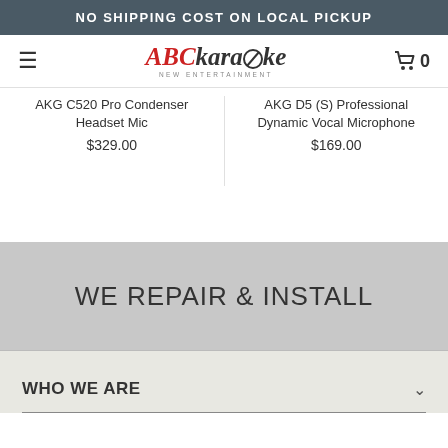NO SHIPPING COST ON LOCAL PICKUP
[Figure (logo): ABCkaraoke logo with stylized disc icon and tagline NEW ENTERTAINMENT]
AKG C520 Pro Condenser Headset Mic
$329.00
AKG D5 (S) Professional Dynamic Vocal Microphone
$169.00
WE REPAIR & INSTALL
WHO WE ARE